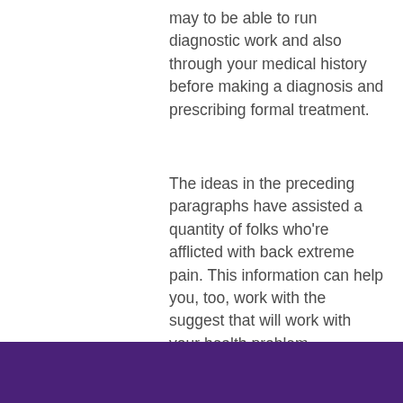may to be able to run diagnostic work and also through your medical history before making a diagnosis and prescribing formal treatment.
The ideas in the preceding paragraphs have assisted a quantity of folks who're afflicted with back extreme pain. This information can help you, too, work with the suggest that will work with your health problem.